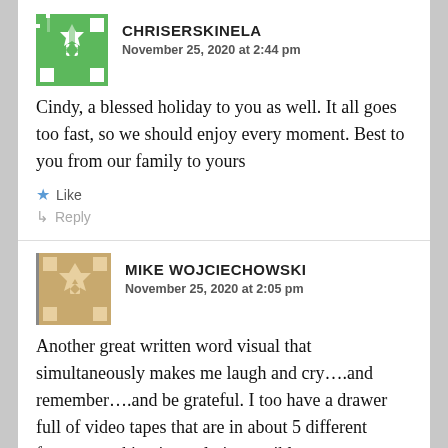[Figure (illustration): Green geometric avatar icon for user ChriSerskinela]
CHRISERSKINELA
November 25, 2020 at 2:44 pm
Cindy, a blessed holiday to you as well. It all goes too fast, so we should enjoy every moment. Best to you from our family to yours
Like
Reply
[Figure (illustration): Tan/gold geometric avatar icon for user Mike Wojciechowski]
MIKE WOJCIECHOWSKI
November 25, 2020 at 2:05 pm
Another great written word visual that simultaneously makes me laugh and cry….and remember….and be grateful. I too have a drawer full of video tapes that are in about 5 different formats, making it nearly impossible